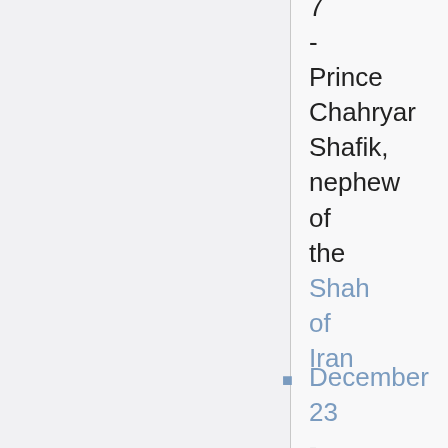7 - Prince Chahryar Shafik, nephew of the Shah of Iran
December 23 - Peggy Guggenheim,